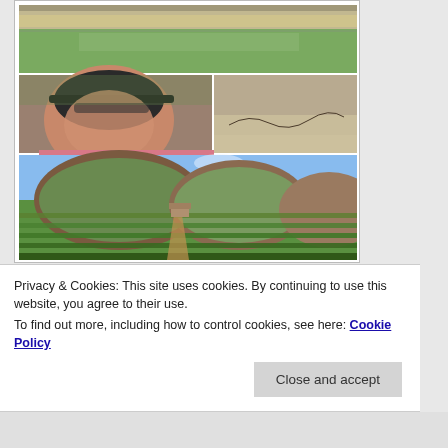[Figure (photo): A collage of four travel/nature photos: top shows a road through green fields; middle-left is a selfie of a woman wearing a cycling helmet and cap; middle-right shows a snake on sandy ground; bottom shows a vineyard landscape with rocky hills in the background.]
Paddocks ploughed and ready to be ploughed.  The path didn't disappoint and neither did Komoot as we were
Privacy & Cookies: This site uses cookies. By continuing to use this website, you agree to their use.
To find out more, including how to control cookies, see here: Cookie Policy